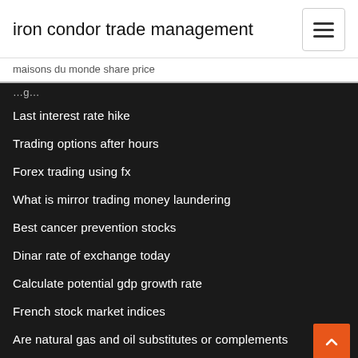iron condor trade management
maisons du monde share price
Last interest rate hike
Trading options after hours
Forex trading using fx
What is mirror trading money laundering
Best cancer prevention stocks
Dinar rate of exchange today
Calculate potential gdp growth rate
French stock market indices
Are natural gas and oil substitutes or complements
Live price of bank nifty